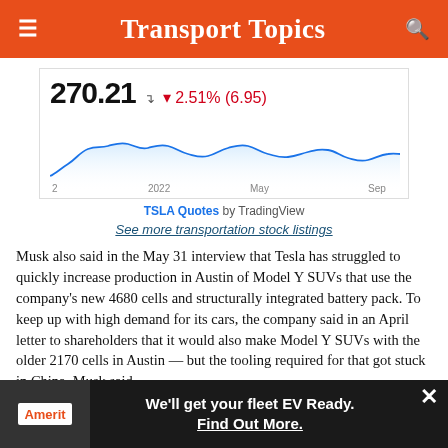Transport Topics
[Figure (line-chart): TSLA stock line chart showing price over time from early 2022 to Sep, with annotation 270.21 and change -2.51% (6.95)]
TSLA Quotes by TradingView
See more transportation stock listings
Musk also said in the May 31 interview that Tesla has struggled to quickly increase production in Austin of Model Y SUVs that use the company’s new 4680 cells and structurally integrated battery pack. To keep up with high demand for its cars, the company said in an April letter to shareholders that it would also make Model Y SUVs with the older 2170 cells in Austin — but the tooling required for that got stuck in China, Musk said.
“This i... s a lot of a... this factory... uild it
[Figure (infographic): Advertisement banner: Amerit fleet EV Ready ad with close button]